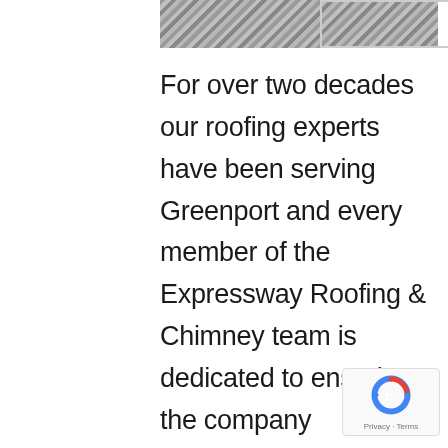[Figure (photo): Partial view of a roof surface showing shingles or tiles, cropped at top of visible area]
For over two decades our roofing experts have been serving Greenport and every member of the Expressway Roofing & Chimney team is dedicated to ensuring the company continues to meet the highest standards of ethics and customer roof replacement. If you are looking to repair the roof on your structure, our roof replacement process was created with you in mind. Our